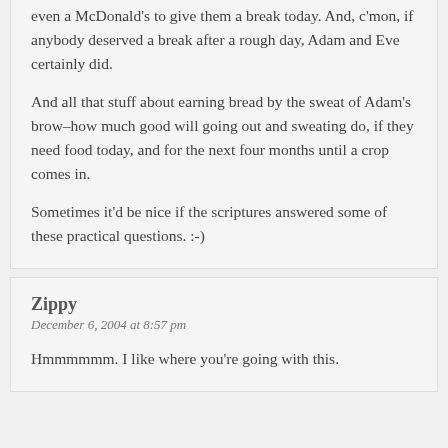even a McDonald's to give them a break today. And, c'mon, if anybody deserved a break after a rough day, Adam and Eve certainly did.
And all that stuff about earning bread by the sweat of Adam's brow–how much good will going out and sweating do, if they need food today, and for the next four months until a crop comes in.
Sometimes it'd be nice if the scriptures answered some of these practical questions. :-)
Zippy
December 6, 2004 at 8:57 pm
Hmmmmmm. I like where you're going with this.